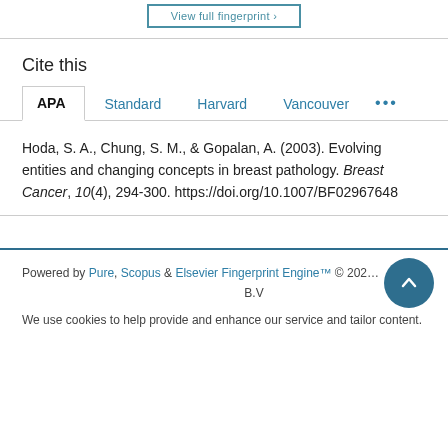Cite this
APA   Standard   Harvard   Vancouver   ...
Hoda, S. A., Chung, S. M., & Gopalan, A. (2003). Evolving entities and changing concepts in breast pathology. Breast Cancer, 10(4), 294-300. https://doi.org/10.1007/BF02967648
Powered by Pure, Scopus & Elsevier Fingerprint Engine™ © 202... B.V
We use cookies to help provide and enhance our service and tailor content.